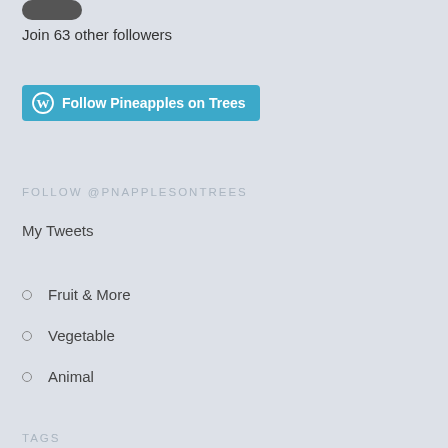Join 63 other followers
[Figure (other): Follow Pineapples on Trees button with WordPress icon]
FOLLOW @PNAPPLESONTREES
My Tweets
Fruit & More
Vegetable
Animal
TAGS
agriculture beef begin blueberries blueberry book book review books chard chefs chickens co-operative community container gardening Corner Market cow cows CSA curb market